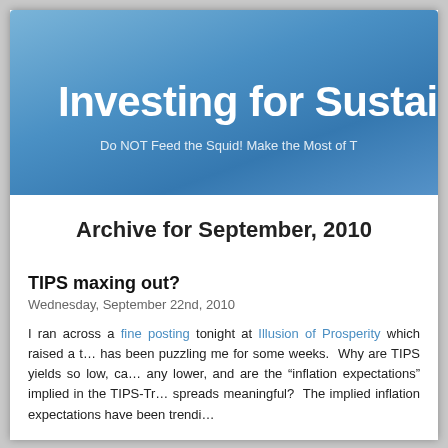Investing for Sustai…
Do NOT Feed the Squid! Make the Most of T…
Archive for September, 2010
TIPS maxing out?
Wednesday, September 22nd, 2010
I ran across a fine posting tonight at Illusion of Prosperity which raised a t… has been puzzling me for some weeks. Why are TIPS yields so low, ca… any lower, and are the "inflation expectations" implied in the TIPS-Tr… spreads meaningful? The implied inflation expectations have been trendi…